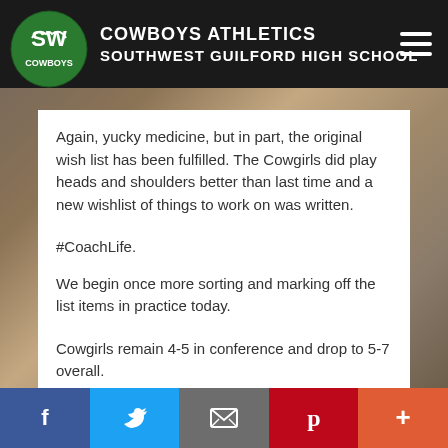COWBOYS ATHLETICS SOUTHWEST GUILFORD HIGH SCHOOL
Again, yucky medicine, but in part, the original wish list has been fulfilled.  The Cowgirls did play heads and shoulders better than last time and a new wishlist of things to work on was written.
#CoachLife.
We begin once more sorting and marking off the list items in practice today.
Cowgirls remain 4-5 in conference and drop to 5-7 overall.
They travel to Southeast Monday, Host Cornerstone Tuesday, and Hop on the Magic Bus once more to
Facebook  Twitter  Email  Pinterest  More